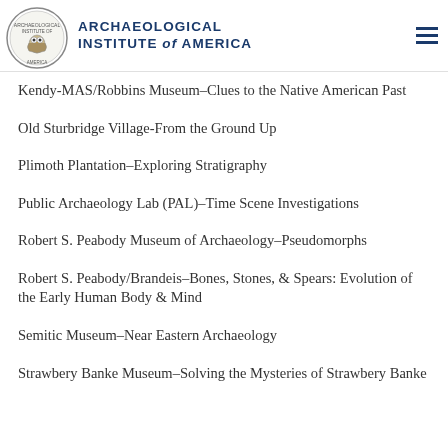Archaeological Institute of America
Kendy-MAS/Robbins Museum–Clues to the Native American Past
Old Sturbridge Village-From the Ground Up
Plimoth Plantation–Exploring Stratigraphy
Public Archaeology Lab (PAL)–Time Scene Investigations
Robert S. Peabody Museum of Archaeology–Pseudomorphs
Robert S. Peabody/Brandeis–Bones, Stones, & Spears: Evolution of the Early Human Body & Mind
Semitic Museum–Near Eastern Archaeology
Strawbery Banke Museum–Solving the Mysteries of Strawbery Banke